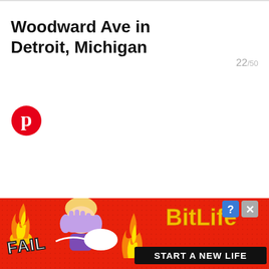Woodward Ave in Detroit, Michigan
22/50
[Figure (logo): Pinterest circular logo icon in red]
[Figure (illustration): BitLife advertisement banner with red background, flame graphics, animated character facepalming, sperm graphic, BitLife logo in yellow with question mark and X icons, FAIL text, and START A NEW LIFE button]